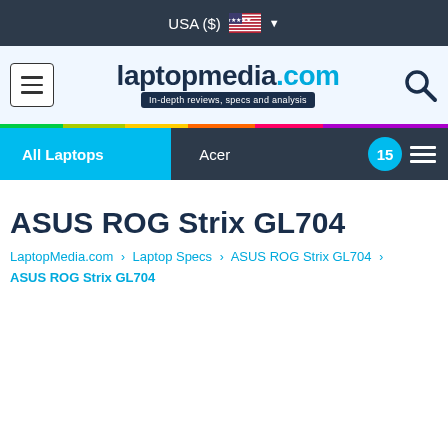USA ($)
[Figure (logo): laptopmedia.com logo with tagline: In-depth reviews, specs and analysis]
All Laptops | Acer | 15
ASUS ROG Strix GL704
LaptopMedia.com > Laptop Specs > ASUS ROG Strix GL704 > ASUS ROG Strix GL704